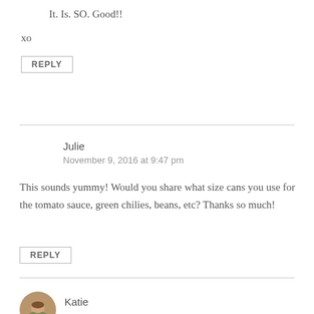It. Is. SO. Good!!
xo
REPLY
Julie
November 9, 2016 at 9:47 pm
This sounds yummy! Would you share what size cans you use for the tomato sauce, green chilies, beans, etc? Thanks so much!
REPLY
Katie